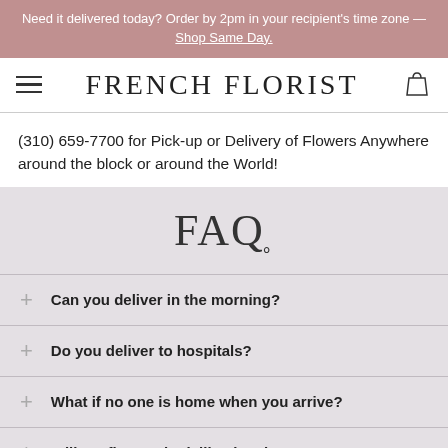Need it delivered today? Order by 2pm in your recipient's time zone — Shop Same Day.
FRENCH FLORIST
(310) 659-7700 for Pick-up or Delivery of Flowers Anywhere around the block or around the World!
FAQ
Can you deliver in the morning?
Do you deliver to hospitals?
What if no one is home when you arrive?
Will my flowers look like the picture?